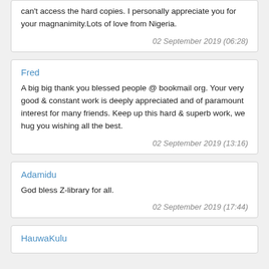can't access the hard copies. I personally appreciate you for your magnanimity.Lots of love from Nigeria.
02 September 2019 (06:28)
Fred
A big big thank you blessed people @ bookmail org. Your very good & constant work is deeply appreciated and of paramount interest for many friends. Keep up this hard & superb work, we hug you wishing all the best.
02 September 2019 (13:16)
Adamidu
God bless Z-library for all.
02 September 2019 (17:44)
HauwaKulu